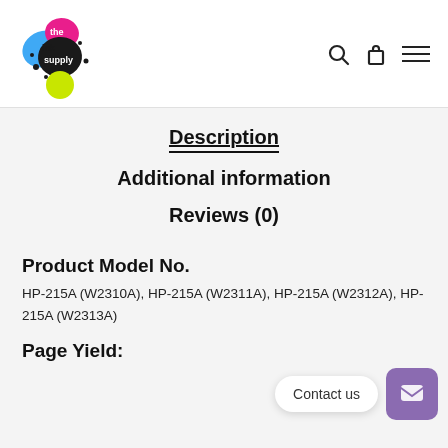[Figure (logo): The Ink Supply logo with colorful ink splatter design]
Description
Additional information
Reviews (0)
Product Model No.
HP-215A (W2310A), HP-215A (W2311A), HP-215A (W2312A), HP-215A (W2313A)
Page Yield: